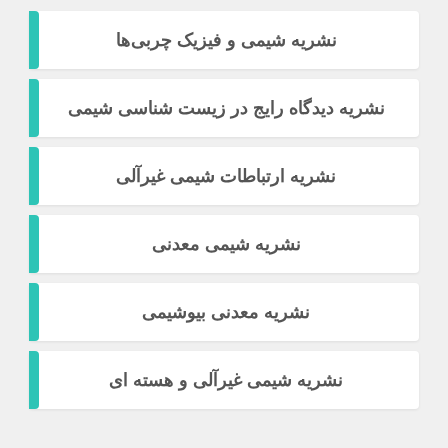نشریه شیمی و فیزیک چربی‌ها
نشریه دیدگاه رایج در زیست شناسی شیمی
نشریه ارتباطات شیمی غیرآلی
نشریه شیمی معدنی
نشریه معدنی بیوشیمی
نشریه شیمی غیرآلی و هسته ای